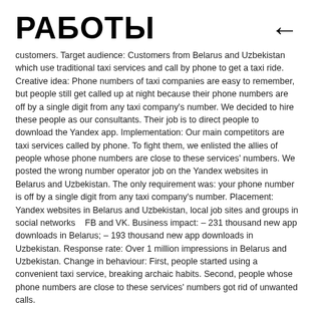РАБОТЫ
customers. Target audience: Customers from Belarus and Uzbekistan which use traditional taxi services and call by phone to get a taxi ride. Creative idea: Phone numbers of taxi companies are easy to remember, but people still get called up at night because their phone numbers are off by a single digit from any taxi company's number. We decided to hire these people as our consultants. Their job is to direct people to download the Yandex app. Implementation: Our main competitors are taxi services called by phone. To fight them, we enlisted the allies of people whose phone numbers are close to these services' numbers. We posted the wrong number operator job on the Yandex websites in Belarus and Uzbekistan. The only requirement was: your phone number is off by a single digit from any taxi company's number. Placement: Yandex websites in Belarus and Uzbekistan, local job sites and groups in social networks    FB and VK. Business impact: – 231 thousand new app downloads in Belarus; – 193 thousand new app downloads in Uzbekistan. Response rate: Over 1 million impressions in Belarus and Uzbekistan. Change in behaviour: First, people started using a convenient taxi service, breaking archaic habits. Second, people whose phone numbers are close to these services' numbers got rid of unwanted calls.